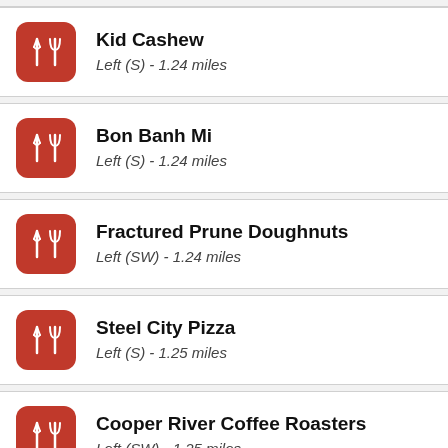Kid Cashew
Left (S) - 1.24 miles
Bon Banh Mi
Left (S) - 1.24 miles
Fractured Prune Doughnuts
Left (SW) - 1.24 miles
Steel City Pizza
Left (S) - 1.25 miles
Cooper River Coffee Roasters
Left (SW) - 1.25 miles